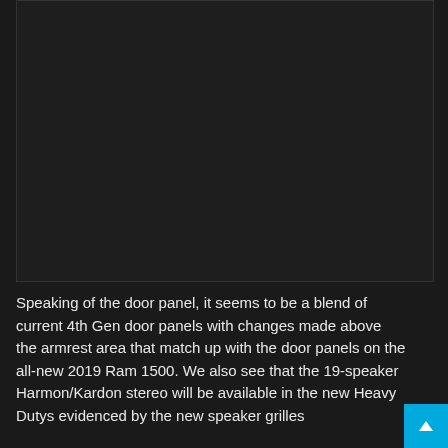[Figure (photo): Dark interior photograph of a vehicle door panel area, mostly black/dark]
Speaking of the door panel, it seems to be a blend of current 4th Gen door panels with changes made above the armrest area that match up with the door panels on the all-new 2019 Ram 1500. We also see that the 19-speaker Harmon/Kardon stereo will be available in the new Heavy Dutys evidenced by the new speaker grilles